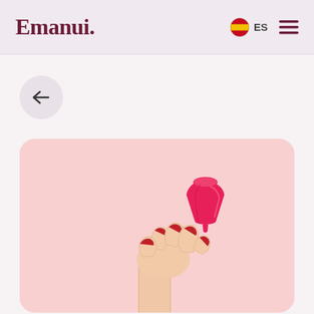Emanui.  ES  ☰
[Figure (illustration): Back navigation arrow button (circular, light purple background) above a product photo card showing a hand held up with red nails holding a pink menstrual cup, on a light pink background with rounded corners.]